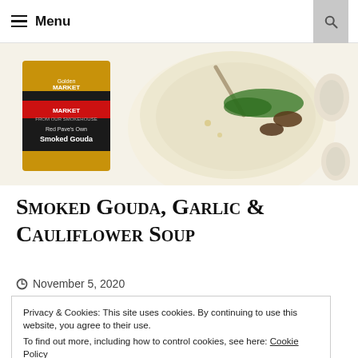Menu
[Figure (photo): Photo of a bowl of creamy cauliflower soup topped with green herbs and mushrooms, with a package of Red Pave Smoked Gouda cheese in the foreground and garlic cloves on the right side.]
Smoked Gouda, Garlic & Cauliflower Soup
November 5, 2020
Privacy & Cookies: This site uses cookies. By continuing to use this website, you agree to their use.
To find out more, including how to control cookies, see here: Cookie Policy
Close and accept
the perfect time to snuggle up and have a delicious bowl of hearty